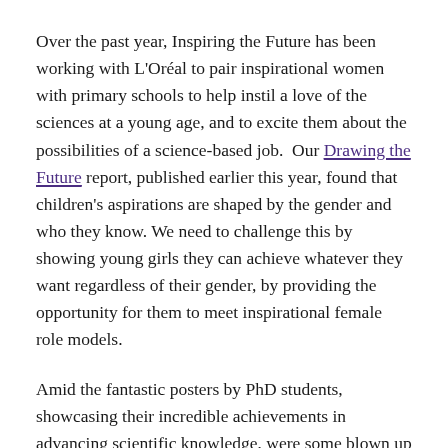Over the past year, Inspiring the Future has been working with L'Oréal to pair inspirational women with primary schools to help instil a love of the sciences at a young age, and to excite them about the possibilities of a science-based job. Our Drawing the Future report, published earlier this year, found that children's aspirations are shaped by the gender and who they know. We need to challenge this by showing young girls they can achieve whatever they want regardless of their gender, by providing the opportunity for them to meet inspirational female role models.
Amid the fantastic posters by PhD students, showcasing their incredible achievements in advancing scientific knowledge, were some blown up copies of pictures drawn by children as part of our Drawing the Future report and competition. Throughout the evening, our programme and how it can help to inspire the next generation of women in science was discussed with individuals. We were thrilled with the positive reception both the drawings and Inspiring the Future received. Many inspiring women signed up to visit a primary school and raise children's aspirations, by